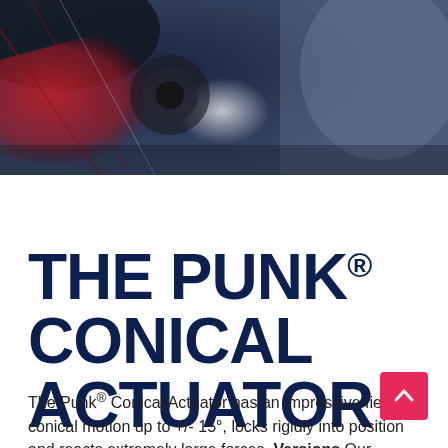[Figure (photo): Close-up photo of a Punk Conical Actuator device with red, white, and dark grey/blue fabric or material around it, photographed from above against a dark blue-grey textured background.]
THE PUNK® CONICAL ACTUATOR
The Punk® Conical Actuator has an impressive field of conical motion up to +/- 15°, locks rigidly into position and reacts extremely large forces. Versions Our unique